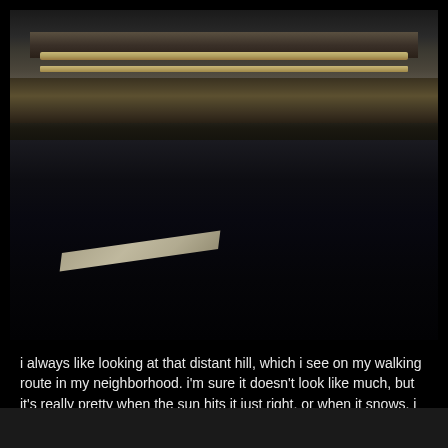[Figure (photo): A daytime photograph of a road intersection or overpass area. A guardrail/bridge structure with tan/gold horizontal rails spans the upper portion. Below is a strip of brown vegetation and dirt. The lower two-thirds of the image shows a dark asphalt road surface with a diagonal white road marking stripe visible. The overall image is dark, especially in the lower half.]
i always like looking at that distant hill, which i see on my walking route in my neighborhood. i'm sure it doesn't look like much, but it's really pretty when the sun hits it just right, or when it snows. i like to picture myself at the top of it, so far removed away from everything - just utter, blessed silence.